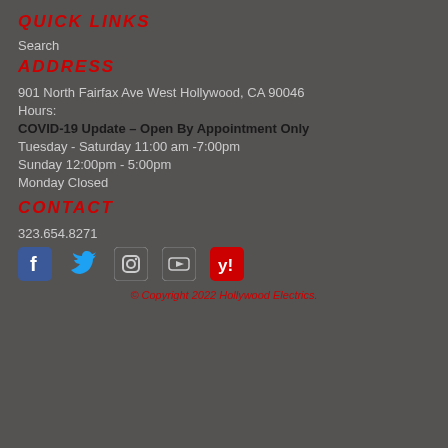QUICK LINKS
Search
ADDRESS
901 North Fairfax Ave West Hollywood, CA 90046
Hours:
COVID-19 Update – Open By Appointment Only
Tuesday - Saturday 11:00 am -7:00pm
Sunday 12:00pm - 5:00pm
Monday Closed
CONTACT
323.654.8271
[Figure (infographic): Row of 5 social media icons: Facebook (blue), Twitter (blue bird), Instagram (outlined), YouTube (outlined), Yelp (red)]
© Copyright 2022 Hollywood Electrics.